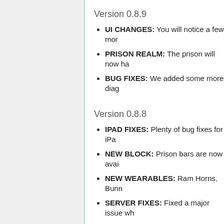Version 0.8.9
UI CHANGES: You will notice a few mor
PRISON REALM: The prison will now ha
BUG FIXES: We added some more diag
Version 0.8.8
IPAD FIXES: Plenty of bug fixes for iPa
NEW BLOCK: Prison bars are now avai
NEW WEARABLES: Ram Horns, Bunn
SERVER FIXES: Fixed a major issue wh
Version 0.8.7
IPAD SUPPORT: We're sending out our firs
Distiller: Use it like a forge* see the website
Extractor: Also works like a forge!